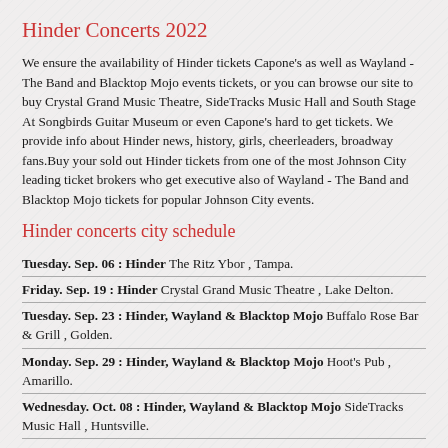Hinder Concerts 2022
We ensure the availability of Hinder tickets Capone's as well as Wayland - The Band and Blacktop Mojo events tickets, or you can browse our site to buy Crystal Grand Music Theatre, SideTracks Music Hall and South Stage At Songbirds Guitar Museum or even Capone's hard to get tickets. We provide info about Hinder news, history, girls, cheerleaders, broadway fans.Buy your sold out Hinder tickets from one of the most Johnson City leading ticket brokers who get executive also of Wayland - The Band and Blacktop Mojo tickets for popular Johnson City events.
Hinder concerts city schedule
Tuesday. Sep. 06 : Hinder The Ritz Ybor , Tampa.
Friday. Sep. 19 : Hinder Crystal Grand Music Theatre , Lake Delton.
Tuesday. Sep. 23 : Hinder, Wayland & Blacktop Mojo Buffalo Rose Bar & Grill , Golden.
Monday. Sep. 29 : Hinder, Wayland & Blacktop Mojo Hoot's Pub , Amarillo.
Wednesday. Oct. 08 : Hinder, Wayland & Blacktop Mojo SideTracks Music Hall , Huntsville.